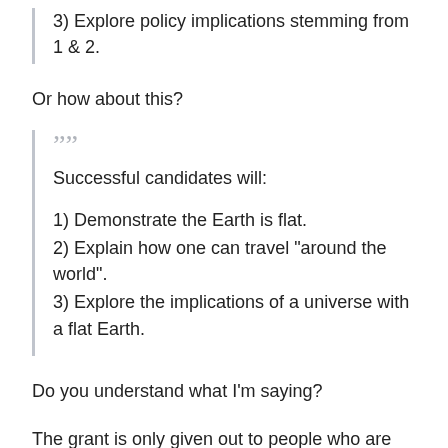3) Explore policy implications stemming from 1 & 2.
Or how about this?
““
Successful candidates will:
1) Demonstrate the Earth is flat.
2) Explain how one can travel "around the world".
3) Explore the implications of a universe with a flat Earth.
Do you understand what I'm saying?
The grant is only given out to people who are going to